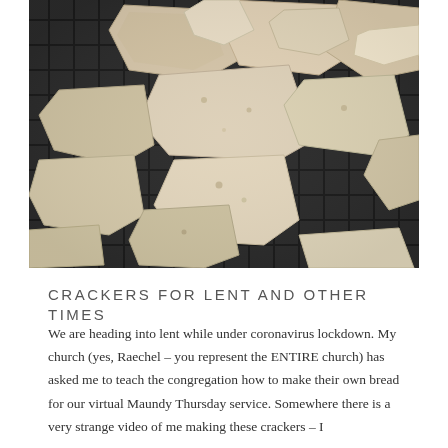[Figure (photo): Overhead photograph of homemade crackers or flatbreads broken into irregular pieces, spread out on a dark wire cooling rack. The crackers are pale beige/tan with slightly browned edges and some darker speckles.]
CRACKERS FOR LENT AND OTHER TIMES
We are heading into lent while under coronavirus lockdown. My church (yes, Raechel – you represent the ENTIRE church) has asked me to teach the congregation how to make their own bread for our virtual Maundy Thursday service. Somewhere there is a very strange video of me making these crackers – I